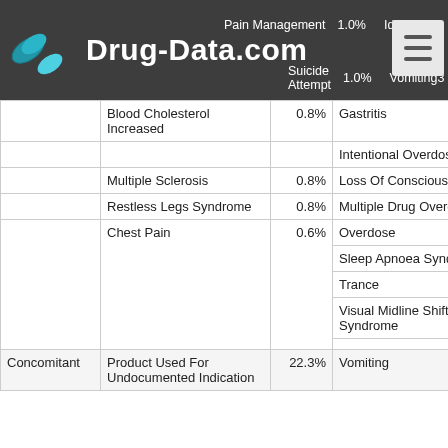Drug-Data.com
| Label | Side Effect | % | Side Effect (right) | % |
| --- | --- | --- | --- | --- |
|  | Pain Management | 1.0% | Ideation |  |
|  | Suicide Attempt | 1.0% | Vomiting | 3 |
|  | Blood Cholesterol Increased | 0.8% | Gastritis | 2 |
|  |  |  | Intentional Overdose | 2 |
|  | Multiple Sclerosis | 0.8% | Loss Of Consciousness | 2 |
|  | Restless Legs Syndrome | 0.8% | Multiple Drug Overdose | 2 |
|  | Chest Pain | 0.6% | Overdose | 2 |
|  |  |  | Sleep Apnoea Syndrome | 2 |
|  |  |  | Trance | 2 |
|  |  |  | Visual Midline Shift Syndrome | 2 |
| Concomitant | Product Used For Undocumented Indication | 22.3% | Vomiting | 12 |